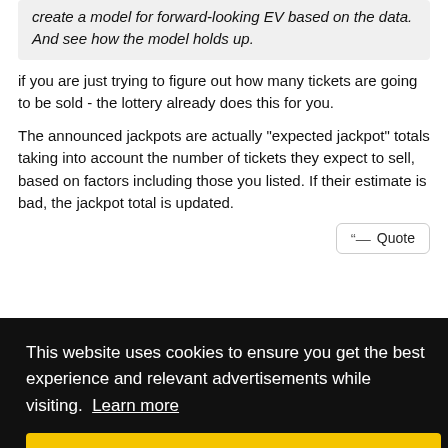create a model for forward-looking EV based on the data. And see how the model holds up.
if you are just trying to figure out how many tickets are going to be sold - the lottery already does this for you.
The announced jackpots are actually "expected jackpot" totals taking into account the number of tickets they expect to sell, based on factors including those you listed. If their estimate is bad, the jackpot total is updated.
Quote
This website uses cookies to ensure you get the best experience and relevant advertisements while visiting. Learn more
Got it!
#69
th EV. e
s OP is providing anyway.